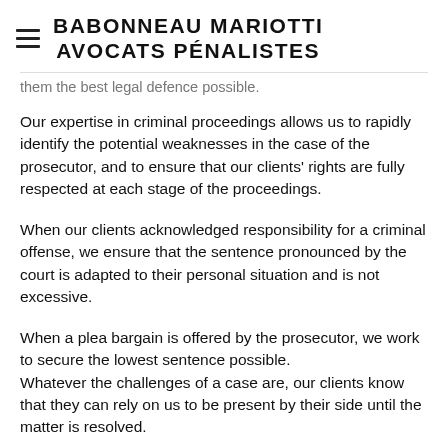BABONNEAU MARIOTTI AVOCATS PÉNALISTES
them the best legal defence possible.
Our expertise in criminal proceedings allows us to rapidly identify the potential weaknesses in the case of the prosecutor, and to ensure that our clients' rights are fully respected at each stage of the proceedings.
When our clients acknowledged responsibility for a criminal offense, we ensure that the sentence pronounced by the court is adapted to their personal situation and is not excessive.
When a plea bargain is offered by the prosecutor, we work to secure the lowest sentence possible. Whatever the challenges of a case are, our clients know that they can rely on us to be present by their side until the matter is resolved.